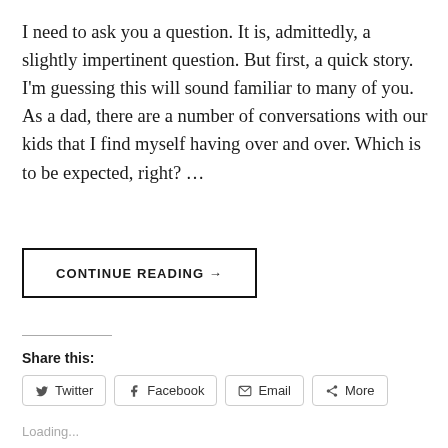I need to ask you a question. It is, admittedly, a slightly impertinent question. But first, a quick story. I'm guessing this will sound familiar to many of you. As a dad, there are a number of conversations with our kids that I find myself having over and over. Which is to be expected, right? …
CONTINUE READING →
Share this:
Twitter
Facebook
Email
More
Loading...